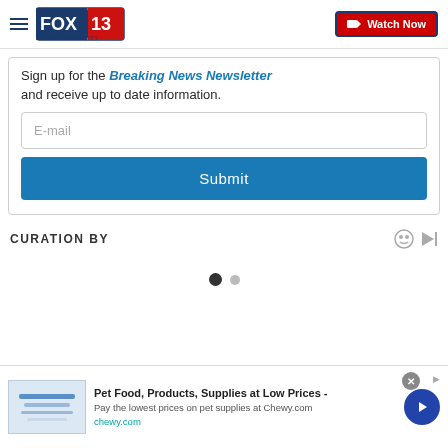FOX 13 Salt Lake City — Watch Now
Sign up for the Breaking News Newsletter and receive up to date information.
[Figure (screenshot): Email input field with placeholder text 'E-mail']
[Figure (screenshot): Submit button in teal/dark blue color]
CURATION BY
[Figure (infographic): Pagination dots: one filled dark circle and one smaller grey circle]
[Figure (infographic): Advertisement banner for Chewy.com: Pet Food, Products, Supplies at Low Prices - Pay the lowest prices on pet supplies at Chewy.com]